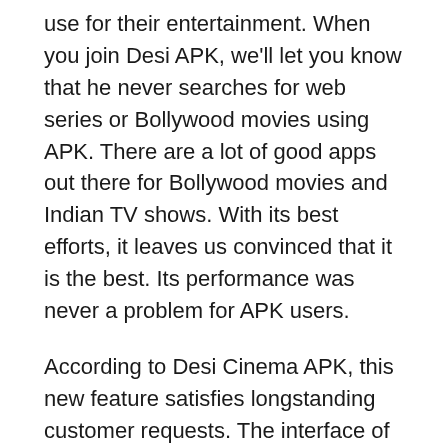use for their entertainment. When you join Desi APK, we'll let you know that he never searches for web series or Bollywood movies using APK. There are a lot of good apps out there for Bollywood movies and Indian TV shows. With its best efforts, it leaves us convinced that it is the best. Its performance was never a problem for APK users.
According to Desi Cinema APK, this new feature satisfies longstanding customer requests. The interface of Desi Theaters is user-friendly and comfortable. Install the program, download, launch and select one of your favourites and click on the list of endless movies or web series.
Description :